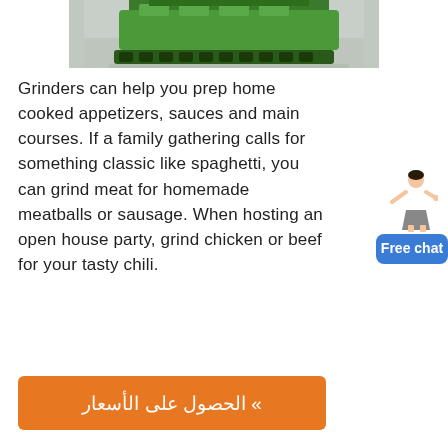[Figure (photo): Partial view of a large green industrial machine (grinder/crusher) in an indoor facility with reflective floor]
Grinders can help you prep home cooked appetizers, sauces and main courses. If a family gathering calls for something classic like spaghetti, you can grind meat for homemade meatballs or sausage. When hosting an open house party, grind chicken or beef for your tasty chili.
[Figure (infographic): Free chat widget with a woman figure and a blue button labeled 'Free chat']
» الحصول على الأسعار